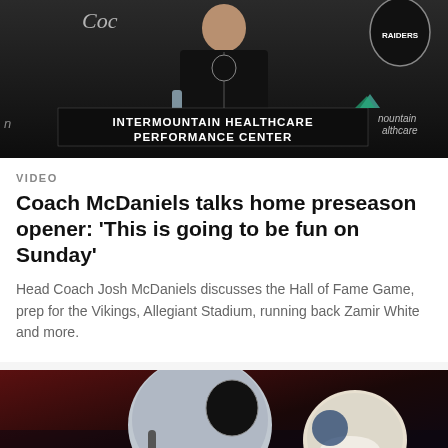[Figure (photo): Press conference photo showing a person in dark Raiders jacket at podium with 'Intermountain Healthcare Performance Center' banner, Coca-Cola logo and Raiders shield visible in background]
VIDEO
Coach McDaniels talks home preseason opener: 'This is going to be fun on Sunday'
Head Coach Josh McDaniels discusses the Hall of Fame Game, prep for the Vikings, Allegiant Stadium, running back Zamir White and more.
[Figure (photo): Close-up of Las Vegas Raiders player #14 in silver helmet with Raiders logo, another player in white helmet visible behind]